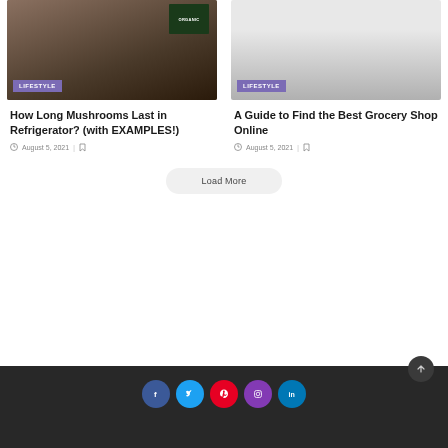[Figure (photo): Photo of packaged organic mushrooms in a black tray with ORGANIC label]
[Figure (photo): Gray gradient placeholder image for grocery shop article]
How Long Mushrooms Last in Refrigerator? (with EXAMPLES!)
August 5, 2021
A Guide to Find the Best Grocery Shop Online
August 5, 2021
Load More
Social icons: Facebook, Twitter, Pinterest, Instagram, LinkedIn